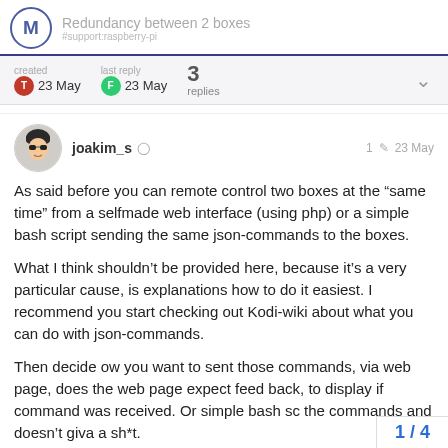Redundancy between 2 boxes
created 23 May   last reply 23 May   3 replies
joakim_s   1   23 May
As said before you can remote control two boxes at the “same time” from a selfmade web interface (using php) or a simple bash script sending the same json-commands to the boxes.
What I think shouldn’t be provided here, because it’s a very particular cause, is explanations how to do it easiest. I recommend you start checking out Kodi-wiki about what you can do with json-commands.
Then decide ow you want to sent those commands, via web page, does the web page expect feed back, to display if command was received. Or simple bash sc the commands and doesn’t giva a sh*t.
1 / 4